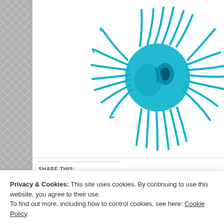[Figure (photo): Blue mop head / octopus-like cleaning product with teal/cyan colored strands against white background]
SHARE THIS:
Twitter
Facebook
Pinterest
Tumblr
Emai...
Loading...
Privacy & Cookies: This site uses cookies. By continuing to use this website, you agree to their use.
To find out more, including how to control cookies, see here: Cookie Policy
Close and accept